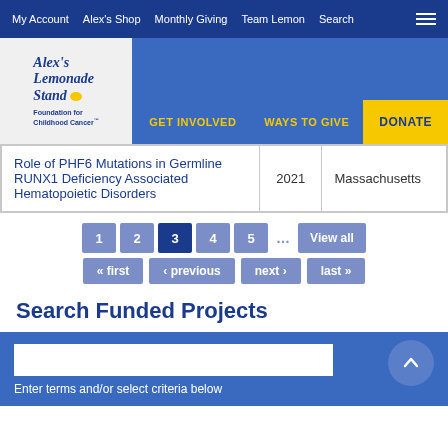My Account | Alex's Shop | Monthly Giving | Team Lemon | Search
[Figure (logo): Alex's Lemonade Stand Foundation for Childhood Cancer logo]
GET INVOLVED | WAYS TO GIVE | DONATE
|  | Year | State |
| --- | --- | --- |
| Role of PHF6 Mutations in Germline RUNX1 Deficiency Associated Hematopoietic Disorders | 2021 | Massachusetts |
1 2 3 4 5 ... View all
« first ‹ previous next › last »
Search Funded Projects
Enter terms and/or select criteria below